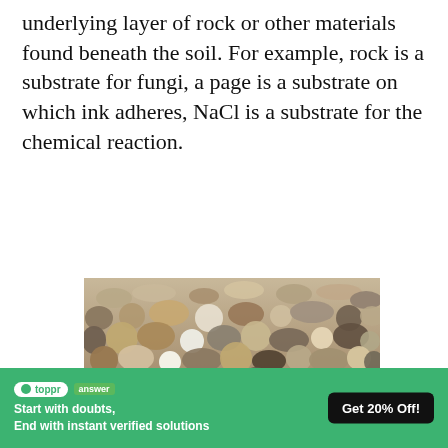underlying layer of rock or other materials found beneath the soil. For example, rock is a substrate for fungi, a page is a substrate on which ink adheres, NaCl is a substrate for the chemical reaction.
[Figure (photo): Close-up photograph of various small pebbles and stones of different colors and sizes on a beach or rocky surface.]
Substrate Biochemistry
[Figure (infographic): Toppr answer advertisement banner with green background, toppr logo, answer badge, text 'Start with doubts, End with instant verified solutions', illustration of a girl student, and a 'Get 20% Off!' button.]